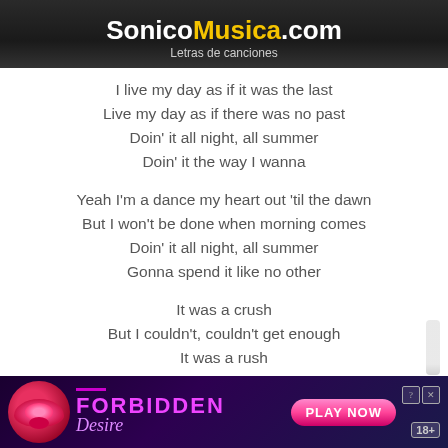SonicoMusica.com
Letras de canciones
I live my day as if it was the last
Live my day as if there was no past
Doin' it all night, all summer
Doin' it the way I wanna

Yeah I'm a dance my heart out 'til the dawn
But I won't be done when morning comes
Doin' it all night, all summer
Gonna spend it like no other

It was a crush
But I couldn't, couldn't get enough
It was a rush
But I gave it up

It was a crush
Now I might have went and said too much
[Figure (advertisement): FORBIDDEN Desire ad banner with lip image and PLAY NOW button, 18+]